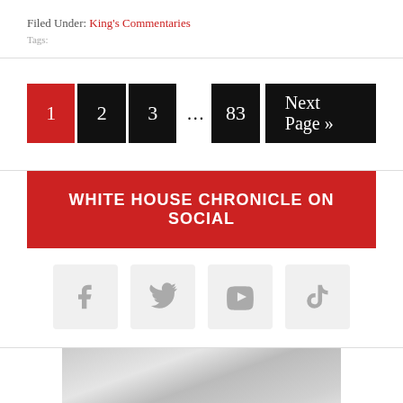Filed Under: King's Commentaries
1 2 3 … 83 Next Page »
WHITE HOUSE CHRONICLE ON SOCIAL
[Figure (illustration): Social media icons: Facebook, Twitter, Vimeo, YouTube in light gray rounded square boxes]
[Figure (photo): Partial grayscale photo at bottom of page, blurred content]